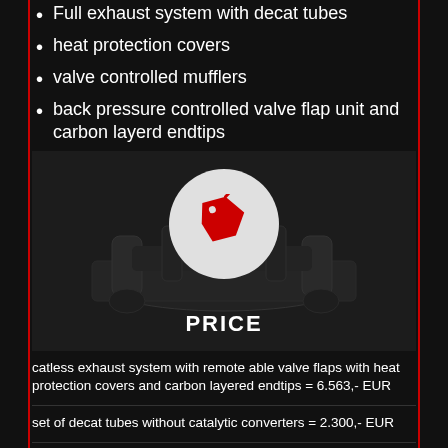Full exhaust system with decat tubes
heat protection covers
valve controlled mufflers
back pressure controlled valve flap unit and carbon layerd endtips
[Figure (photo): Exhaust system components photographed on dark background with price tag icon circle overlay and PRICE label]
catless exhaust system with remote able valve flaps with heat protection covers and carbon layered endtips = 6.563,- EUR
set of decat tubes without catalytic converters = 2.300,- EUR
obd killer module to avoid engine check light = 830,- EUR